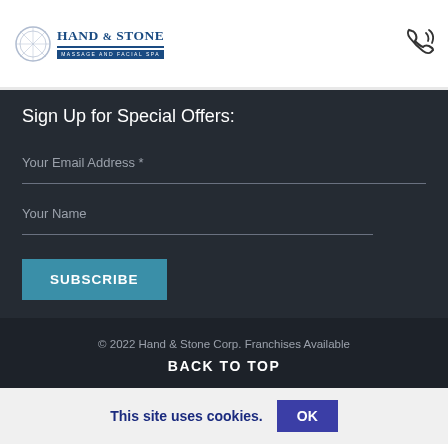[Figure (logo): Hand & Stone Massage and Facial Spa logo with circular emblem]
Sign Up for Special Offers:
Your Email Address *
Your Name
SUBSCRIBE
© 2022 Hand & Stone Corp. Franchises Available
BACK TO TOP
This site uses cookies.   OK